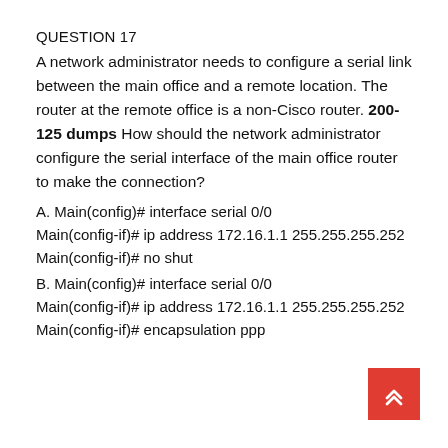QUESTION 17
A network administrator needs to configure a serial link between the main office and a remote location. The router at the remote office is a non-Cisco router. 200-125 dumps How should the network administrator configure the serial interface of the main office router to make the connection?
A. Main(config)# interface serial 0/0
Main(config-if)# ip address 172.16.1.1 255.255.255.252
Main(config-if)# no shut
B. Main(config)# interface serial 0/0
Main(config-if)# ip address 172.16.1.1 255.255.255.252
Main(config-if)# encapsulation ppp